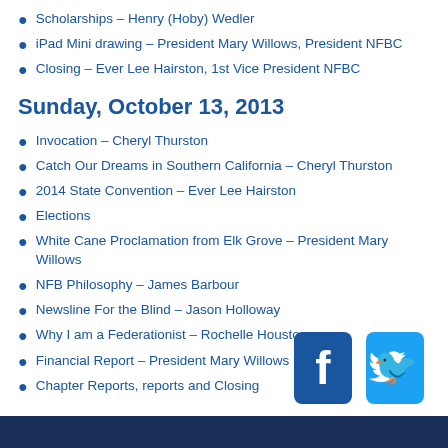Scholarships – Henry (Hoby) Wedler
iPad Mini drawing – President Mary Willows, President NFBC
Closing – Ever Lee Hairston, 1st Vice President NFBC
Sunday, October 13, 2013
Invocation – Cheryl Thurston
Catch Our Dreams in Southern California – Cheryl Thurston
2014 State Convention – Ever Lee Hairston
Elections
White Cane Proclamation from Elk Grove – President Mary Willows
NFB Philosophy – James Barbour
Newsline For the Blind – Jason Holloway
Why I am a Federationist – Rochelle Houston
Financial Report – President Mary Willows
Chapter Reports, reports and Closing
[Figure (logo): Facebook and Twitter social media icons]